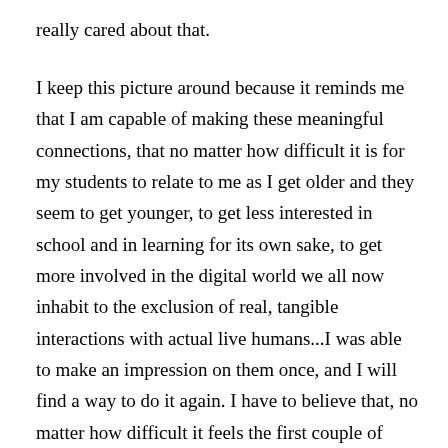really cared about that.
I keep this picture around because it reminds me that I am capable of making these meaningful connections, that no matter how difficult it is for my students to relate to me as I get older and they seem to get younger, to get less interested in school and in learning for its own sake, to get more involved in the digital world we all now inhabit to the exclusion of real, tangible interactions with actual live humans...I was able to make an impression on them once, and I will find a way to do it again. I have to believe that, no matter how difficult it feels the first couple of weeks of the school year, no matter how many people ask to be transferred out of my English class because